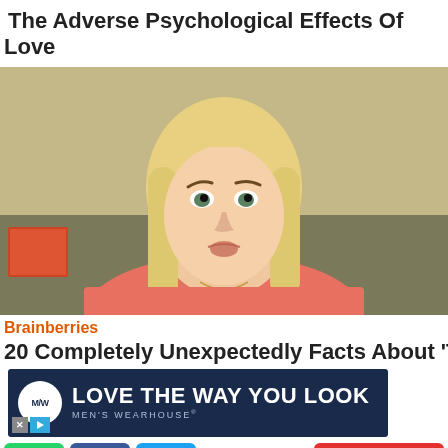The Adverse Psychological Effects Of Love
[Figure (photo): A blonde woman with a surprised or concerned expression, wearing a pink/coral top, photographed indoors with a beige/olive background. Still from The Big Bang Theory TV show.]
Brainberries
20 Completely Unexpected Facts About 'The Big Bang
[Figure (other): Men's Wearhouse advertisement banner with dark navy background, circular white logo with M/W initials, text reading 'LOVE THE WAY YOU LOOK' and 'MEN'S WEARHOUSE' subtitle. Has X close button and play button in bottom left.]
[Figure (other): Social sharing buttons row: green WhatsApp button, blue Facebook button, light blue Twitter button on left; red NEXT > button on right.]